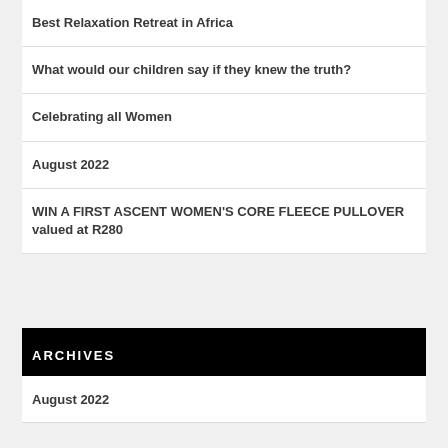Best Relaxation Retreat in Africa
What would our children say if they knew the truth?
Celebrating all Women
August 2022
WIN A FIRST ASCENT WOMEN'S CORE FLEECE PULLOVER valued at R280
ARCHIVES
August 2022